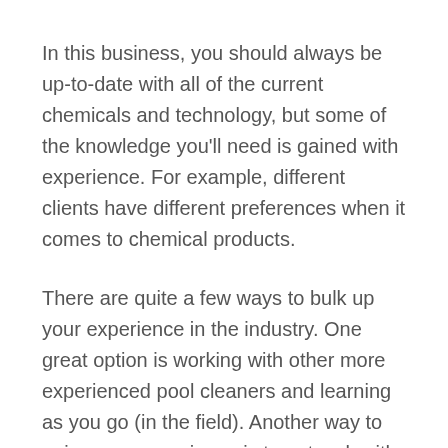In this business, you should always be up-to-date with all of the current chemicals and technology, but some of the knowledge you'll need is gained with experience. For example, different clients have different preferences when it comes to chemical products.
There are quite a few ways to bulk up your experience in the industry. One great option is working with other more experienced pool cleaners and learning as you go (in the field). Another way to gain some experience is to network with experts in the industry, maybe at industry events.